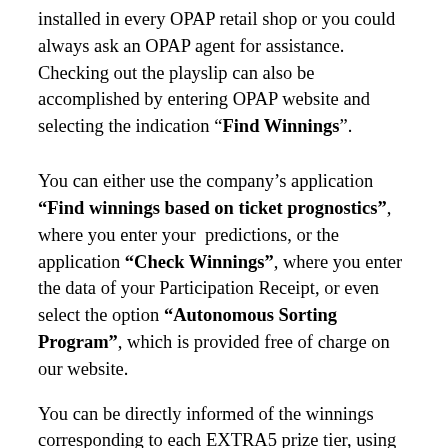installed in every OPAP retail shop or you could always ask an OPAP agent for assistance. Checking out the playslip can also be accomplished by entering OPAP website and selecting the indication “Find Winnings”.
You can either use the company’s application “Find winnings based on ticket prognostics”, where you enter your predictions, or the application “Check Winnings”, where you enter the data of your Participation Receipt, or even select the option “Autonomous Sorting Program”, which is provided free of charge on our website.
You can be directly informed of the winnings corresponding to each EXTRA5 prize tier, using the table at the back side of the playslip, where the coefficients on winnings per prize tier and per type of game are